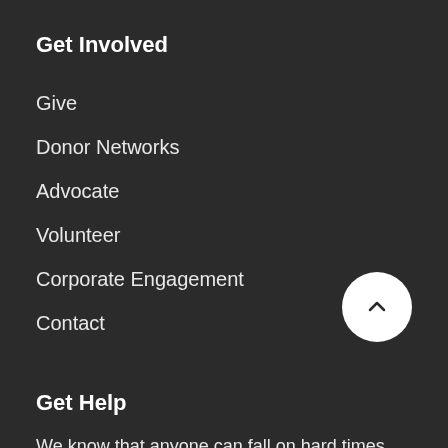Get Involved
Give
Donor Networks
Advocate
Volunteer
Corporate Engagement
Contact
Get Help
We know that anyone can fall on hard times. That’s why